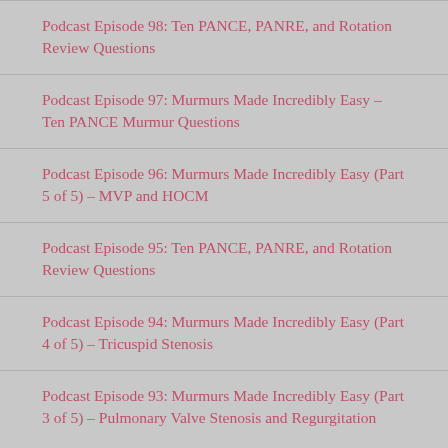Podcast Episode 98: Ten PANCE, PANRE, and Rotation Review Questions
Podcast Episode 97: Murmurs Made Incredibly Easy – Ten PANCE Murmur Questions
Podcast Episode 96: Murmurs Made Incredibly Easy (Part 5 of 5) – MVP and HOCM
Podcast Episode 95: Ten PANCE, PANRE, and Rotation Review Questions
Podcast Episode 94: Murmurs Made Incredibly Easy (Part 4 of 5) – Tricuspid Stenosis
Podcast Episode 93: Murmurs Made Incredibly Easy (Part 3 of 5) – Pulmonary Valve Stenosis and Regurgitation